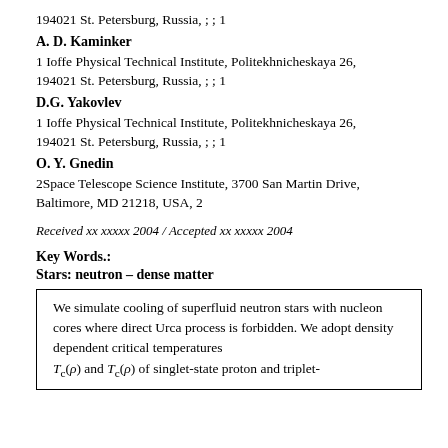194021 St. Petersburg, Russia, ; ; 1
A. D. Kaminker
1 Ioffe Physical Technical Institute, Politekhnicheskaya 26, 194021 St. Petersburg, Russia, ; ; 1
D.G. Yakovlev
1 Ioffe Physical Technical Institute, Politekhnicheskaya 26, 194021 St. Petersburg, Russia, ; ; 1
O. Y. Gnedin
2Space Telescope Science Institute, 3700 San Martin Drive, Baltimore, MD 21218, USA, 2
Received xx xxxxx 2004 / Accepted xx xxxxx 2004
Key Words.:
Stars: neutron – dense matter
We simulate cooling of superfluid neutron stars with nucleon cores where direct Urca process is forbidden. We adopt density dependent critical temperatures T_c(ρ) and T_c(ρ) of singlet-state proton and triplet-